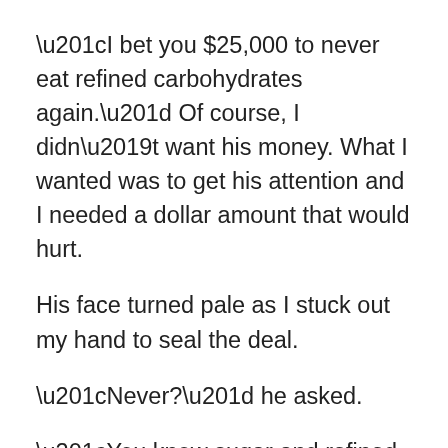“I bet you $25,000 to never eat refined carbohydrates again.” Of course, I didn’t want his money. What I wanted was to get his attention and I needed a dollar amount that would hurt.
His face turned pale as I stuck out my hand to seal the deal.
“Never?” he asked.
“You know sugar and refined carbs are hurting your body, right?” I asked and he agreed. “Well then let’s kill this bad habit